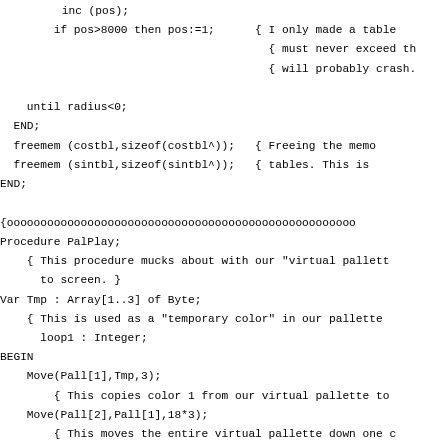inc (pos);
        if pos>8000 then pos:=1;      { I only made a table
                                              { must never exceed th
                                              { will probably crash.

    until radius<0;
  END;
  freemem (costbl,sizeof(costbl^));     { Freeing the memo
  freemem (sintbl,sizeof(sintbl^));     { tables. This is
END;

{oooooooooooooooooooooooooooooooooooooooooooooooooooooooooo
Procedure PalPlay;
    { This procedure mucks about with our "virtual pallett
      to screen. }
Var Tmp : Array[1..3] of Byte;
    { This is used as a "temporary color" in our pallette
      loop1 : Integer;
BEGIN
    Move(Pall[1],Tmp,3);
        { This copies color 1 from our virtual pallette to
    Move(Pall[2],Pall[1],18*3);
        { This moves the entire virtual pallette down one c
    Move(Tmp,Pall[18],3);
        { This copies the Tmp variable to no. 18 of the vir
    WaitRetrace;
    For loop1:=1 to 18 do
        pal (loop1,pall[loop1,1],pall[loop1,2],pall[loop1,3
END;

BEGIN